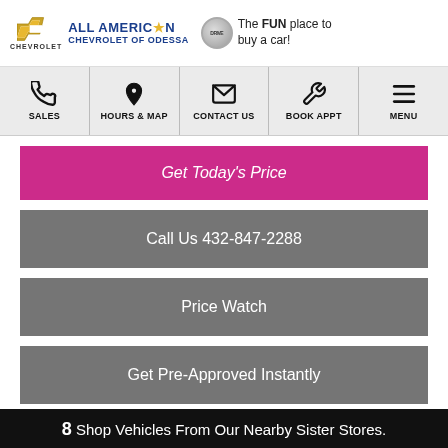[Figure (logo): All American Chevrolet of Odessa logo with Chevrolet bowtie, dealer name, and Drive badge with tagline 'The FUN place to buy a car!']
[Figure (infographic): Navigation bar with icons: phone (SALES), location pin (HOURS & MAP), envelope (CONTACT US), wrench (BOOK APPT), hamburger menu (MENU)]
Get Today's Price
Call Us 432-847-2288
Price Watch
Get Pre-Approved Instantly
8 Shop Vehicles From Our Nearby Sister Stores.